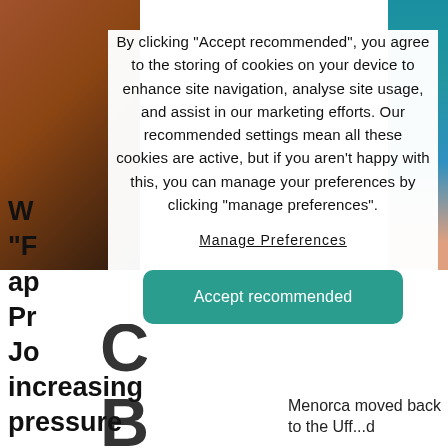[Figure (screenshot): Background web page with partial large text letters (C, B, u, t, s) visible on the left side and a coastal/cliff photo on the right edge. Bottom shows partial article text.]
By clicking “Accept recommended”, you agree to the storing of cookies on your device to enhance site navigation, analyse site usage, and assist in our marketing efforts. Our recommended settings mean all these cookies are active, but if you aren’t happy with this, you can manage your preferences by clicking “manage preferences”.
Manage Preferences
Accept recommended